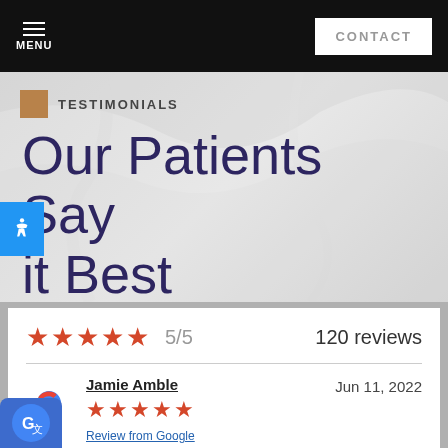MENU | CONTACT
TESTIMONIALS
Our Patients Say it Best
5/5  120 reviews
Jamie Amble  Jun 11, 2022  ★★★★★  Review from Google